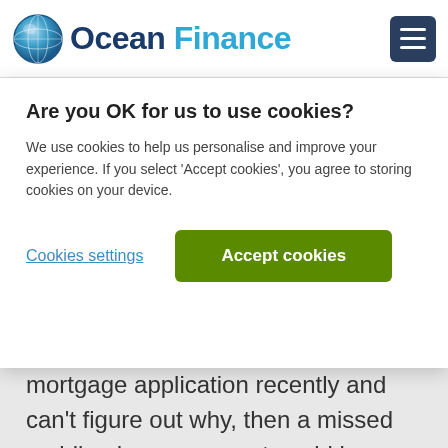[Figure (logo): Ocean Finance logo with globe icon and company name]
Are you OK for us to use cookies?
We use cookies to help us personalise and improve your experience. If you select 'Accept cookies', you agree to storing cookies on your device.
Cookies settings
Accept cookies
mortgage application recently and can't figure out why, then a missed mobile phone payment could be what's casting a shadow on your rating.
Your credit report is the first point of call for lenders deciding on your suitability for credit. They'll use the information contained in it to